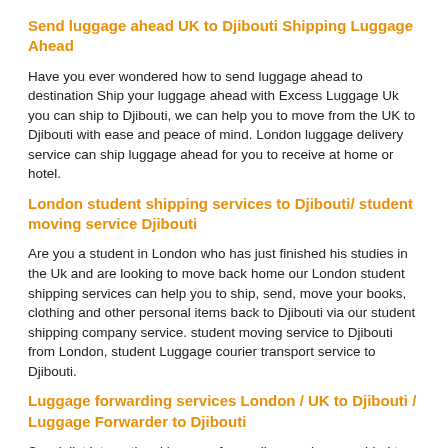Send luggage ahead UK to Djibouti Shipping Luggage Ahead
Have you ever wondered how to send luggage ahead to destination Ship your luggage ahead with Excess Luggage Uk you can ship to Djibouti, we can help you to move from the UK to Djibouti with ease and peace of mind. London luggage delivery service can ship luggage ahead for you to receive at home or hotel.
London student shipping services to Djibouti/ student moving service Djibouti
Are you a student in London who has just finished his studies in the Uk and are looking to move back home our London student shipping services can help you to ship, send, move your books, clothing and other personal items back to Djibouti via our student shipping company service. student moving service to Djibouti from London, student Luggage courier transport service to Djibouti.
Luggage forwarding services London / UK to Djibouti / Luggage Forwarder to Djibouti
Specialist international luggage forwarding services provided to Djibouti by Excess luggage...